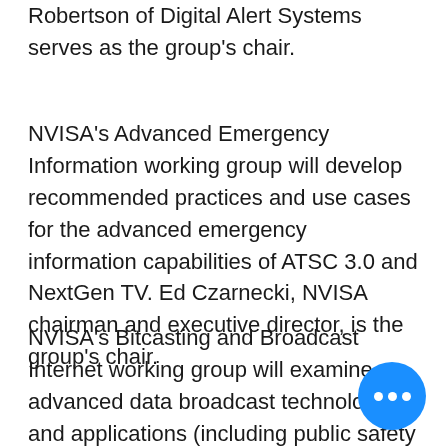Robertson of Digital Alert Systems serves as the group's chair.
NVISA's Advanced Emergency Information working group will develop recommended practices and use cases for the advanced emergency information capabilities of ATSC 3.0 and NextGen TV. Ed Czarnecki, NVISA chairman and executive director, is the group's chair.
NVISA's Bitcasting and Broadcast Internet working group will examine advanced data broadcast technologies and applications (including public safety applicati… Mark Corl of Triveni Digital serves as